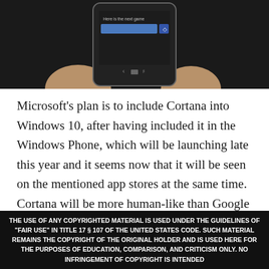[Figure (photo): A hand holding a Windows Phone smartphone displaying a Cortana voice assistant interface with the text 'Here is the next game' and a blue input bar with microphone icon.]
Microsoft's plan is to include Cortana into Windows 10, after having included it in the Windows Phone, which will be launching late this year and it seems now that it will be seen on the mentioned app stores at the same time. Cortana will be more human-like than Google Now and more refined than Siri and will anticipate users'
THE USE OF ANY COPYRIGHTED MATERIAL IS USED UNDER THE GUIDELINES OF "FAIR USE" IN TITLE 17 § 107 OF THE UNITED STATES CODE. SUCH MATERIAL REMAINS THE COPYRIGHT OF THE ORIGINAL HOLDER AND IS USED HERE FOR THE PURPOSES OF EDUCATION, COMPARISON, AND CRITICISM ONLY. NO INFRINGEMENT OF COPYRIGHT IS INTENDED